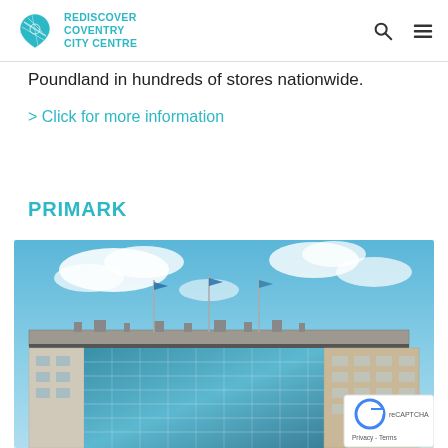Rediscover Coventry City Centre
Poundland in hundreds of stores nationwide.
> Click for more information
PRIMARK
[Figure (photo): Exterior photo of a large commercial building with glass facade and flags on the roof against a blue sky with white clouds. Appears to be a Primark store in Coventry city centre.]